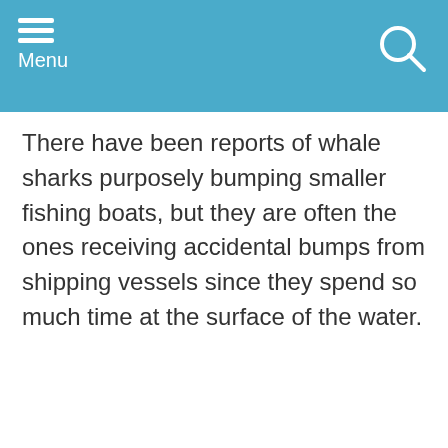Menu
There have been reports of whale sharks purposely bumping smaller fishing boats, but they are often the ones receiving accidental bumps from shipping vessels since they spend so much time at the surface of the water.
Quick Navigation
Habitat
Size/Color
Anatomy
Diet